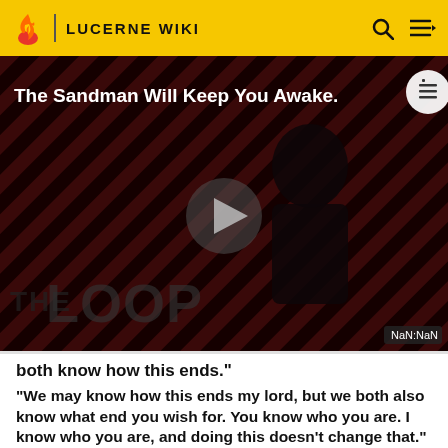LUCERNE WIKI
[Figure (screenshot): Video thumbnail for 'The Sandman Will Keep You Awake' showing a dark-clothed figure against a red and black striped background, with a play button in the center and 'THE LOOP' text overlay. NaN:NaN timestamp shown in bottom right.]
both know how this ends."
"We may know how this ends my lord, but we both also know what end you wish for. You know who you are. I know who you are, and doing this doesn't change that." I looked up at